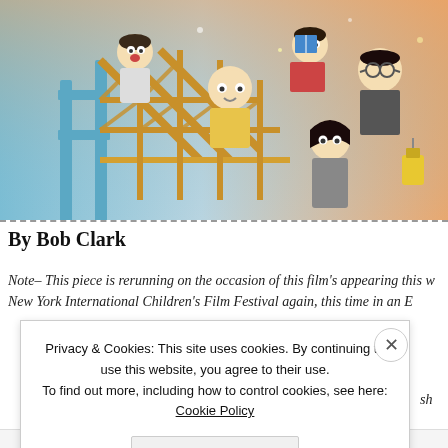[Figure (illustration): Anime-style illustration of children playing on a colorful climbing structure/scaffolding, with warm sunset tones in the background. Multiple child characters in various poses, some holding lanterns.]
By Bob Clark
Note– This piece is rerunning on the occasion of this film's appearing this w New York International Children's Film Festival again, this time in an E sh
Privacy & Cookies: This site uses cookies. By continuing to use this website, you agree to their use.
To find out more, including how to control cookies, see here: Cookie Policy
Close and accept